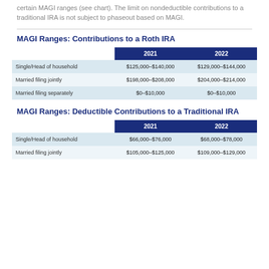certain MAGI ranges (see chart). The limit on nondeductible contributions to a traditional IRA is not subject to phaseout based on MAGI.
MAGI Ranges: Contributions to a Roth IRA
|  | 2021 | 2022 |
| --- | --- | --- |
| Single/Head of household | $125,000–$140,000 | $129,000–$144,000 |
| Married filing jointly | $198,000–$208,000 | $204,000–$214,000 |
| Married filing separately | $0–$10,000 | $0–$10,000 |
MAGI Ranges: Deductible Contributions to a Traditional IRA
|  | 2021 | 2022 |
| --- | --- | --- |
| Single/Head of household | $66,000–$76,000 | $68,000–$78,000 |
| Married filing jointly | $105,000–$125,000 | $109,000–$129,000 |